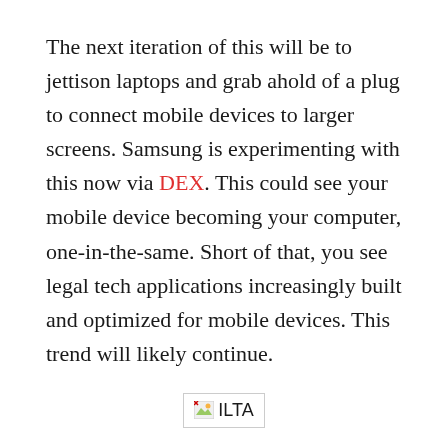The next iteration of this will be to jettison laptops and grab ahold of a plug to connect mobile devices to larger screens. Samsung is experimenting with this now via DEX. This could see your mobile device becoming your computer, one-in-the-same. Short of that, you see legal tech applications increasingly built and optimized for mobile devices. This trend will likely continue.
[Figure (illustration): Broken image placeholder with ILTA logo text]
Another interesting trend spotted this year was the drop of “security” from the top concerns cited by law firms. While security has long stood atop that list of concerns, it was replaced this